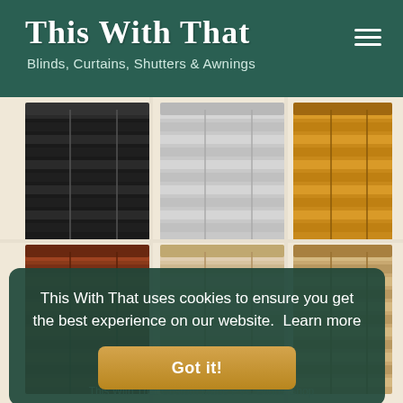This With That — Blinds, Curtains, Shutters & Awnings
[Figure (photo): Grid of six venetian blinds in different colors: black, white/grey, golden/yellow (top row), red-brown/mahogany, light beige/cream, and natural wood/light tan (bottom row), displayed on a cream background.]
This With That uses cookies to ensure you get the best experience on our website.  Learn more
Got it!
This With That Custom Made PVC Blinds Shop